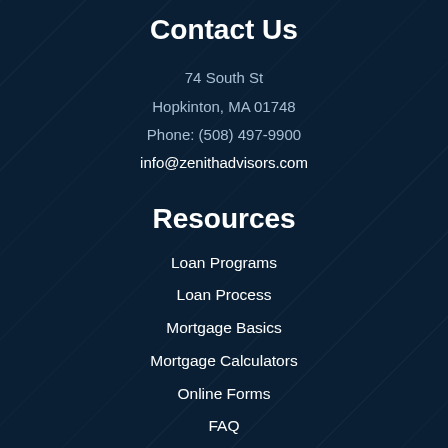Contact Us
74 South St
Hopkinton, MA 01748
Phone: (508) 497-9900
info@zenithadvisors.com
Resources
Loan Programs
Loan Process
Mortgage Basics
Mortgage Calculators
Online Forms
FAQ
Disclaimers